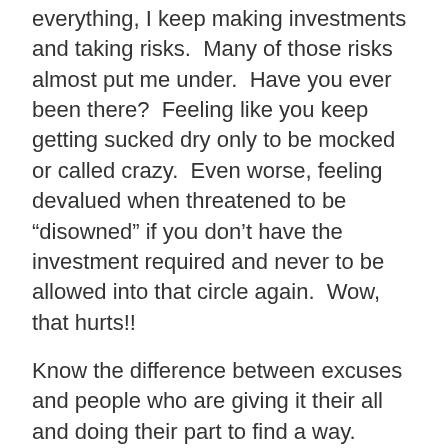everything, I keep making investments and taking risks.  Many of those risks almost put me under.  Have you ever been there?  Feeling like you keep getting sucked dry only to be mocked or called crazy.  Even worse, feeling devalued when threatened to be “disowned” if you don’t have the investment required and never to be allowed into that circle again.  Wow, that hurts!!
Know the difference between excuses and people who are giving it their all and doing their part to find a way.  Hopefully, their finding a way and digging a deeper HOLE prevents them from being homeless versus truly achieving success.  Take time to hear their situation.  They are counting on you